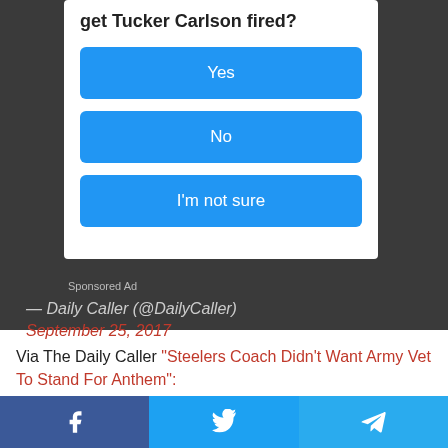get Tucker Carlson fired?
Yes
No
I'm not sure
Sponsored Ad
— Daily Caller (@DailyCaller)
September 25, 2017
Via The Daily Caller “Steelers Coach Didn’t Want Army Vet To Stand For Anthem”:
[Figure (screenshot): Social media share bar with Facebook, Twitter, and Telegram buttons]